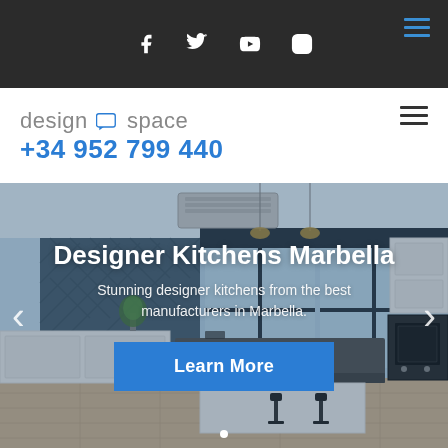Social icons bar with hamburger menu
[Figure (logo): design space logo with chat bubble icon and phone number +34 952 799 440]
[Figure (photo): Interior photo of a modern white designer kitchen in Marbella with island seating, dark accent wall, and large windows. Hero slider with text 'Designer Kitchens Marbella' and subtitle 'Stunning designer kitchens from the best manufacturers in Marbella'. Blue Learn More button. Left/right navigation arrows.]